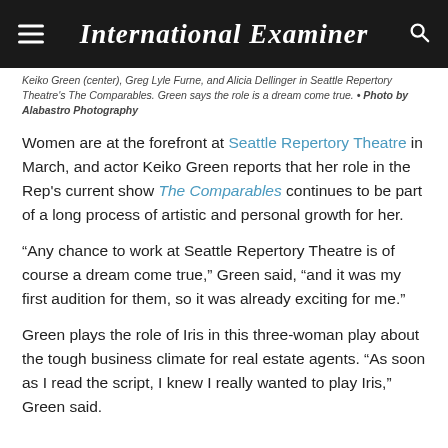International Examiner
Keiko Green (center), Greg Lyle Furne, and Alicia Dellinger in Seattle Repertory Theatre's The Comparables. Green says the role is a dream come true. • Photo by Alabastro Photography
Women are at the forefront at Seattle Repertory Theatre in March, and actor Keiko Green reports that her role in the Rep's current show The Comparables continues to be part of a long process of artistic and personal growth for her.
“Any chance to work at Seattle Repertory Theatre is of course a dream come true,” Green said, “and it was my first audition for them, so it was already exciting for me.”
Green plays the role of Iris in this three-woman play about the tough business climate for real estate agents. “As soon as I read the script, I knew I really wanted to play Iris,” Green said.